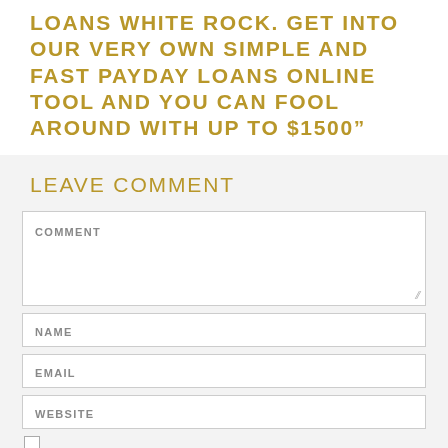LOANS WHITE ROCK. GET INTO OUR VERY OWN SIMPLE AND FAST PAYDAY LOANS ONLINE TOOL AND YOU CAN FOOL AROUND WITH UP TO $1500"
LEAVE COMMENT
COMMENT (textarea field)
NAME (input field)
EMAIL (input field)
WEBSITE (input field)